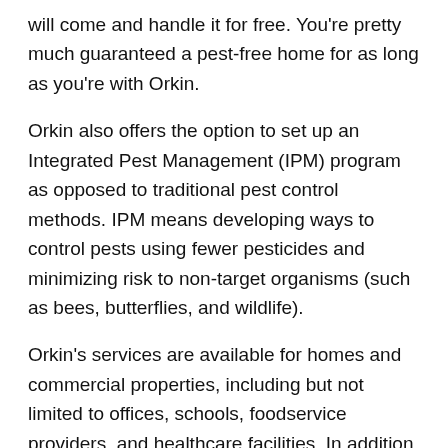will come and handle it for free. You're pretty much guaranteed a pest-free home for as long as you're with Orkin.
Orkin also offers the option to set up an Integrated Pest Management (IPM) program as opposed to traditional pest control methods. IPM means developing ways to control pests using fewer pesticides and minimizing risk to non-target organisms (such as bees, butterflies, and wildlife).
Orkin's services are available for homes and commercial properties, including but not limited to offices, schools, foodservice providers, and healthcare facilities. In addition to pest control, Orkin offers a sanitation service that can help prevent the spread of diseases, including COVID-19.